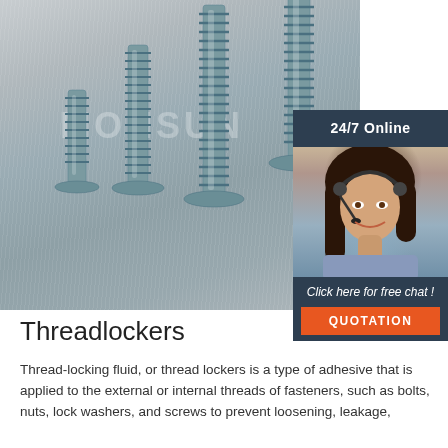[Figure (photo): Four metal self-tapping screws with flat countersunk heads standing upright on a brushed metal surface, arranged by increasing height from left to right. A watermark text 'MONSUN' appears faintly in the background. An overlay sidebar on the right shows '24/7 Online' text, a smiling female customer service agent wearing a headset, 'Click here for free chat!' text, and an orange 'QUOTATION' button.]
Threadlockers
Thread-locking fluid, or thread lockers is a type of adhesive that is applied to the external or internal threads of fasteners, such as bolts, nuts, lock washers, and screws to prevent loosening, leakage, and corrosion. Thread-locking compounds provide...